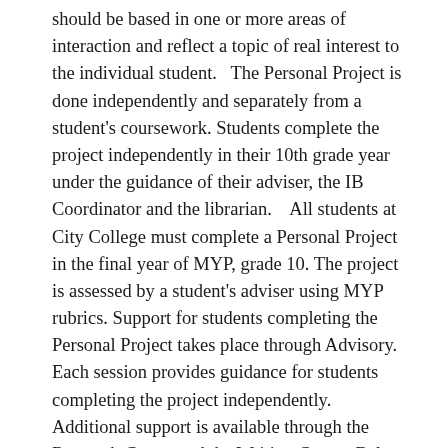should be based in one or more areas of interaction and reflect a topic of real interest to the individual student.   The Personal Project is done independently and separately from a student's coursework. Students complete the project independently in their 10th grade year under the guidance of their adviser, the IB Coordinator and the librarian.    All students at City College must complete a Personal Project in the final year of MYP, grade 10. The project is assessed by a student's adviser using MYP rubrics. Support for students completing the Personal Project takes place through Advisory. Each session provides guidance for students completing the project independently. Additional support is available through the Research Center and the Writing Center. Below please find